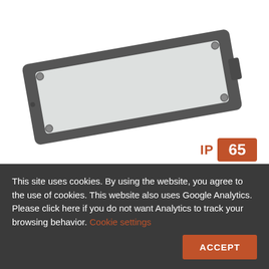[Figure (photo): A dark grey rectangular LED lighting fixture shown at an angle (rotated approximately -10 degrees), with a white/frosted diffuser panel and visible mounting screws at the corners. Below it, a partial view of another product is visible.]
IP 65
150 JOULES = IK 16
This site uses cookies. By using the website, you agree to the use of cookies. This website also uses Google Analytics. Please click here if you do not want Analytics to track your browsing behavior. Cookie settings ACCEPT